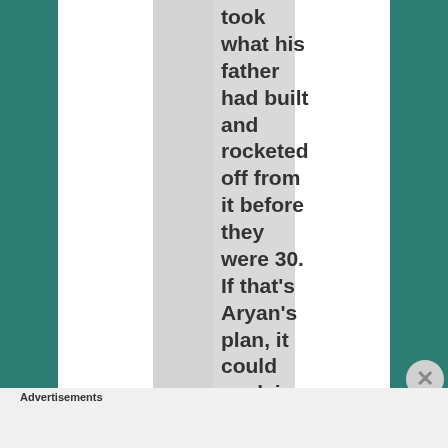took what his father had built and rocketed off from it before they were 30. If that's Aryan's plan, it could explain Shahrukh's push for fi...
[Figure (infographic): Bloomingdales advertisement banner with logo, tagline 'View Today's Top Deals!', woman in wide-brim hat, and 'SHOP NOW >' call to action button]
Advertisements